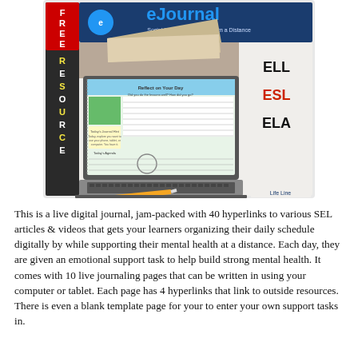[Figure (illustration): Cover image of an 'eJournal: Social Emotional Support from a Distance' product. Shows the word RESOURCE vertically on the left side in yellow and white letters on a dark background. Center shows a laptop screen displaying a digital journal page. Top right shows labels ELL, ESL, ELA in black, red, and dark colors. The journal title 'eJournal' appears in large blue text at the top with a blue circular arrow icon. Subtitle reads 'Social Emotional Support from a Distance'. Bottom right has a 'Life Line' logo. A pencil is visible near the laptop keyboard.]
This is a live digital journal, jam-packed with 40 hyperlinks to various SEL articles & videos that gets your learners organizing their daily schedule digitally by while supporting their mental health at a distance. Each day, they are given an emotional support task to help build strong mental health. It comes with 10 live journaling pages that can be written in using your computer or tablet. Each page has 4 hyperlinks that link to outside resources. There is even a blank template page for your to enter your own support tasks in.